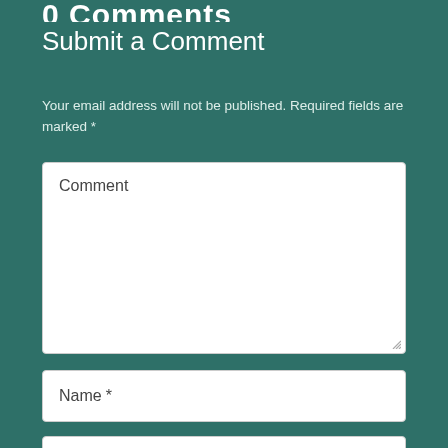0 Comments
Submit a Comment
Your email address will not be published. Required fields are marked *
[Figure (screenshot): Web comment form with textarea labeled 'Comment', text input labeled 'Name *', and text input labeled 'Email *' on a teal background]
Comment
Name *
Email *